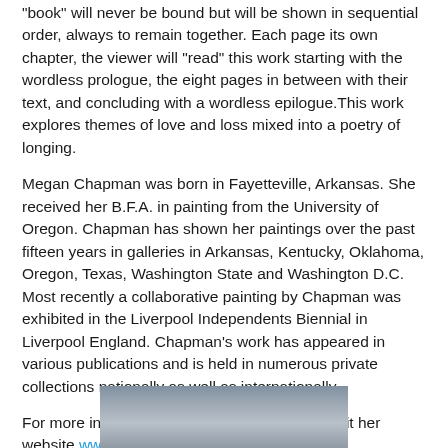"book" will never be bound but will be shown in sequential order, always to remain together. Each page its own chapter, the viewer will "read" this work starting with the wordless prologue, the eight pages in between with their text, and concluding with a wordless epilogue.This work explores themes of love and loss mixed into a poetry of longing.
Megan Chapman was born in Fayetteville, Arkansas. She received her B.F.A. in painting from the University of Oregon. Chapman has shown her paintings over the past fifteen years in galleries in Arkansas, Kentucky, Oklahoma, Oregon, Texas, Washington State and Washington D.C. Most recently a collaborative painting by Chapman was exhibited in the Liverpool Independents Biennial in Liverpool England. Chapman's work has appeared in various publications and is held in numerous private collections nationally as well as internationally.
For more information about her work please visit her website www.meganchapman.com
[Figure (photo): Partial view of a photograph at the bottom of the page, showing what appears to be a grayscale image, only the top portion visible.]